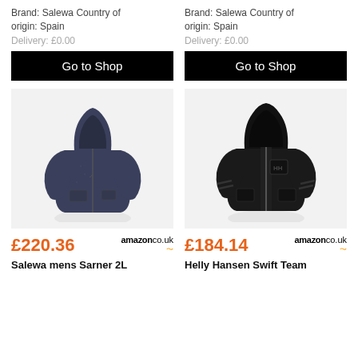Brand: Salewa Country of origin: Spain
Delivery: £0.00
Brand: Salewa Country of origin: Spain
Delivery: £0.00
Go to Shop
Go to Shop
[Figure (photo): Navy blue hooded zip-up fleece jacket (Salewa mens Sarner 2L)]
[Figure (photo): Black hooded softshell jacket with HH logo (Helly Hansen Swift Team)]
£220.36
amazonco.uk
£184.14
amazonco.uk
Salewa mens Sarner 2L
Helly Hansen Swift Team